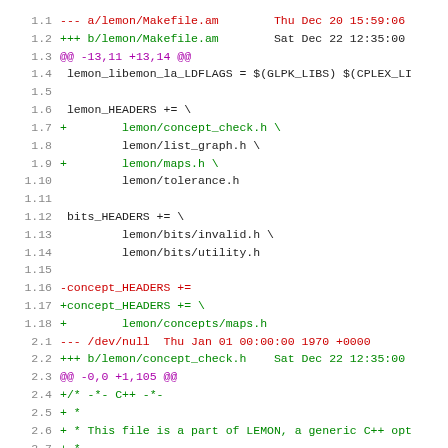[Figure (screenshot): Unified diff output showing changes to lemon/Makefile.am and a new file b/lemon/concept_check.h, displayed with line numbers, red for removed lines, green for added lines, purple for hunk headers, and black for unchanged lines.]